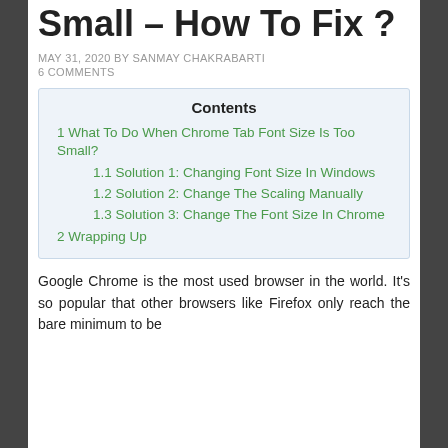Small – How To Fix ?
MAY 31, 2020 BY SANMAY CHAKRABARTI
6 COMMENTS
Contents
1 What To Do When Chrome Tab Font Size Is Too Small?
1.1 Solution 1: Changing Font Size In Windows
1.2 Solution 2: Change The Scaling Manually
1.3 Solution 3: Change The Font Size In Chrome
2 Wrapping Up
Google Chrome is the most used browser in the world. It's so popular that other browsers like Firefox only reach the bare minimum to be